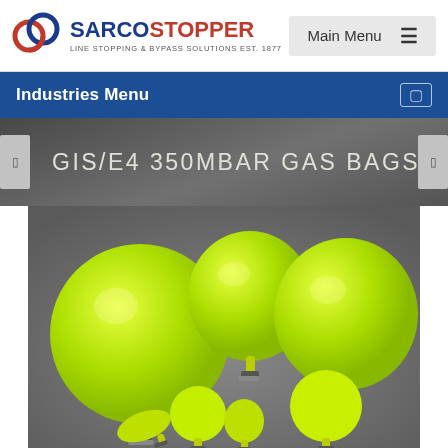SARCOSTOPPER | LINE STOPPING & BYPASS SOLUTIONS EST. 1877 | Main Menu
Industries Menu
GIS/E4 350MBAR GAS BAGS
[Figure (photo): Group of neon yellow/green inflatable gas bags of various sizes arranged on a grey background, each with metal valve fittings at the bottom]